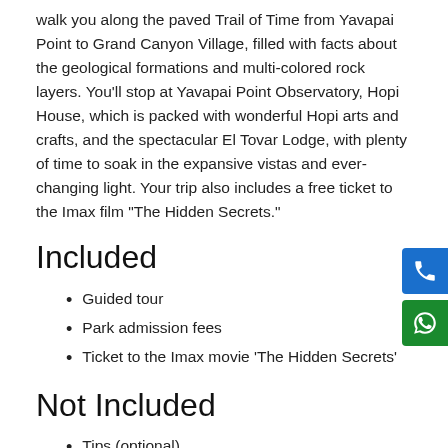walk you along the paved Trail of Time from Yavapai Point to Grand Canyon Village, filled with facts about the geological formations and multi-colored rock layers. You'll stop at Yavapai Point Observatory, Hopi House, which is packed with wonderful Hopi arts and crafts, and the spectacular El Tovar Lodge, with plenty of time to soak in the expansive vistas and ever-changing light. Your trip also includes a free ticket to the Imax film "The Hidden Secrets."
Included
Guided tour
Park admission fees
Ticket to the Imax movie 'The Hidden Secrets'
Not Included
Tips (optional)
Reduced Price